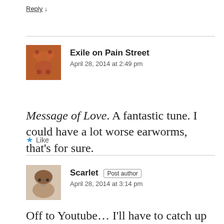Reply ↓
Exile on Pain Street
April 28, 2014 at 2:49 pm
Message of Love. A fantastic tune. I could have a lot worse earworms, that's for sure.
★ Like
Scarlet [Post author]
April 28, 2014 at 3:14 pm
Off to Youtube... I'll have to catch up with